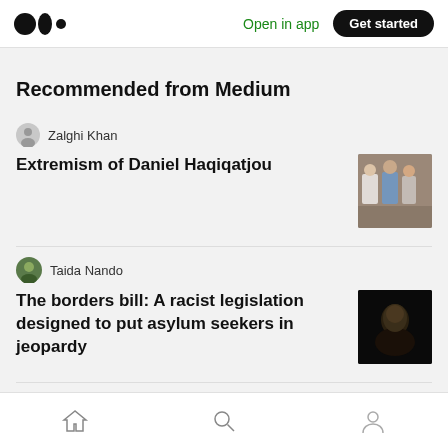Medium logo | Open in app | Get started
Recommended from Medium
Zalghi Khan
Extremism of Daniel Haqiqatjou
Taida Nando
The borders bill: A racist legislation designed to put asylum seekers in jeopardy
DXER
Home | Search | Profile